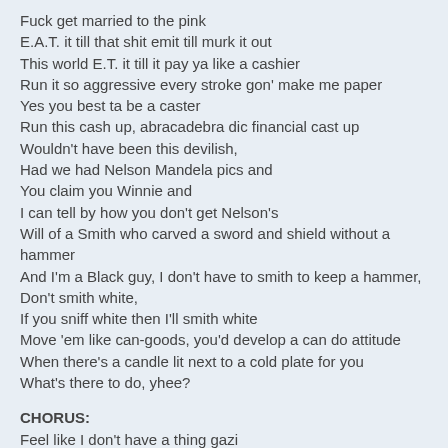Fuck get married to the pink
E.A.T. it till that shit emit till murk it out
This world E.T. it till it pay ya like a cashier
Run it so aggressive every stroke gon' make me paper
Yes you best ta be a caster
Run this cash up, abracadebra dic financial cast up
Wouldn't have been this devilish,
Had we had Nelson Mandela pics and
You claim you Winnie and
I can tell by how you don't get Nelson's
Will of a Smith who carved a sword and shield without a hammer
And I'm a Black guy, I don't have to smith to keep a hammer,
Don't smith white,
If you sniff white then I'll smith white
Move 'em like can-goods, you'd develop a can do attitude
When there's a candle lit next to a cold plate for you
What's there to do, yhee?
CHORUS:
Feel like I don't have a thing gazi